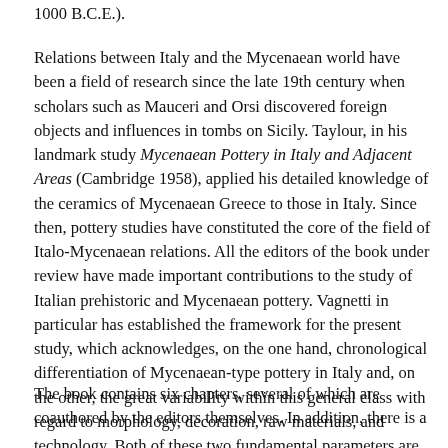1000 B.C.E.).
Relations between Italy and the Mycenaean world have been a field of research since the late 19th century when scholars such as Mauceri and Orsi discovered foreign objects and influences in tombs on Sicily. Taylour, in his landmark study Mycenaean Pottery in Italy and Adjacent Areas (Cambridge 1958), applied his detailed knowledge of the ceramics of Mycenaean Greece to those in Italy. Since then, pottery studies have constituted the core of the field of Italo-Mycenaean relations. All the editors of the book under review have made important contributions to the study of Italian prehistoric and Mycenaean pottery. Vagnetti in particular has established the framework for the present study, which acknowledges, on the one hand, chronological differentiation of Mycenaean-type pottery in Italy and, on the other, the great variability within this general class with regard to morphology, decoration, raw materials, and technology. Both of these two fundamental parameters are expanded and elaborated on in the present volume.
The book contains six chapters, several of which are coauthored by the editors themselves. In addition, there is a